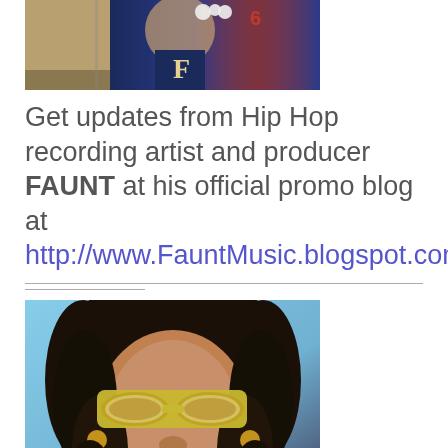[Figure (photo): Top portion of a photo showing a person in a navy blue varsity jacket with the letter F, wearing a necklace, partially cropped at the top]
Get updates from Hip Hop recording artist and producer FAUNT at his official promo blog at http://www.FauntMusic.blogspot.com
[Figure (photo): Photo of a woman with curly black hair wearing large mirrored aviator sunglasses and hoop earrings, taking a selfie in a car]